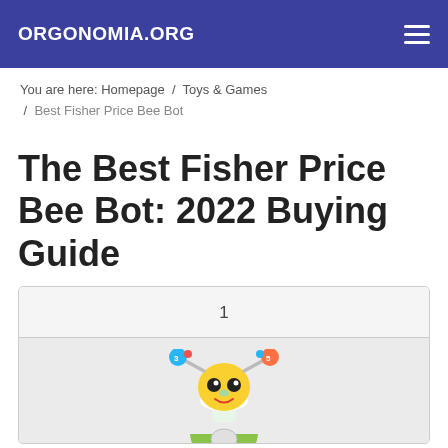ORGONOMIA.ORG
You are here: Homepage / Toys & Games / Best Fisher Price Bee Bot
The Best Fisher Price Bee Bot: 2022 Buying Guide
[Figure (other): Product card showing item number 1 with an image of a Fisher-Price Beat Belle robot toy — a yellow round-headed robot with colorful antennae and a green base]